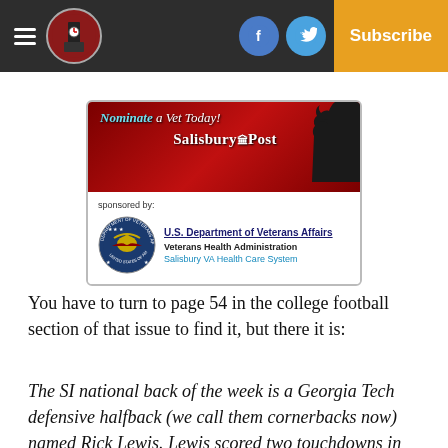Salisbury Post - Navigation bar with hamburger menu, logo, Facebook and Twitter social icons, and Subscribe button
[Figure (infographic): Ad banner: 'Nominate a Vet Today! Salisbury Post' sponsored by U.S. Department of Veterans Affairs, Veterans Health Administration, Salisbury VA Health Care System, with VA seal logo and soldier silhouette]
You have to turn to page 54 in the college football section of that issue to find it, but there it is:
The SI national back of the week is a Georgia Tech defensive halfback (we call them cornerbacks now) named Rick Lewis. Lewis scored two touchdowns in the